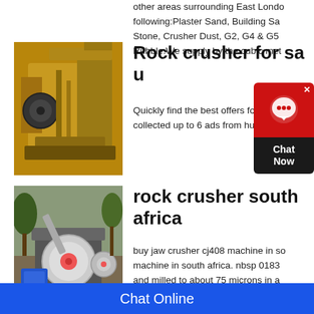other areas surrounding East London following:Plaster Sand, Building Sand Stone, Crusher Dust, G2, G4 & G5 Rubble.We supply by the cubic met
[Figure (photo): Yellow industrial rock crusher machine]
Rock crusher for sa u
Quickly find the best offers for collected up to 6 ads from hundreds
[Figure (photo): Small rock crusher machine outdoors]
rock crusher south africa
buy jaw crusher cj408 machine in south africa. nbsp 0183 machine in south africa. nbsp 0183 and milled to about 75 microns in a The fine slurry is then sent to an agi
Chat Online